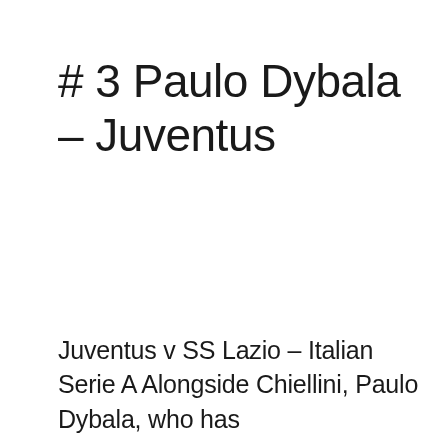# 3 Paulo Dybala – Juventus
Juventus v SS Lazio – Italian Serie A Alongside Chiellini, Paulo Dybala, who has